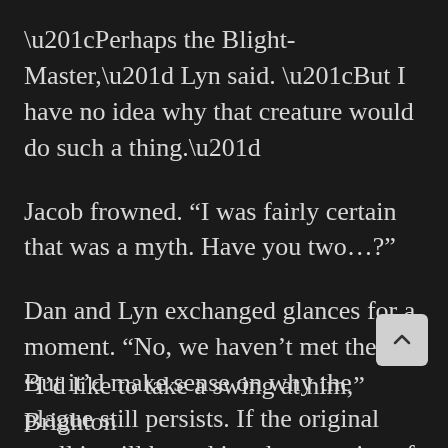“Perhaps the Blight-Master,” Lyn said. “But I have no idea why that creature would do such a thing.”
Jacob frowned. “I was fairly certain that was a myth. Have you two…?”
Dan and Lyn exchanged glances for a moment. “No, we haven’t met them. But it’d make sense on why the plague still persists. If the original spell is still bound in what remains of the caster.”
“Pointless speculation,” Lyn said.
“I’d like to take a swing at him,” Brighton